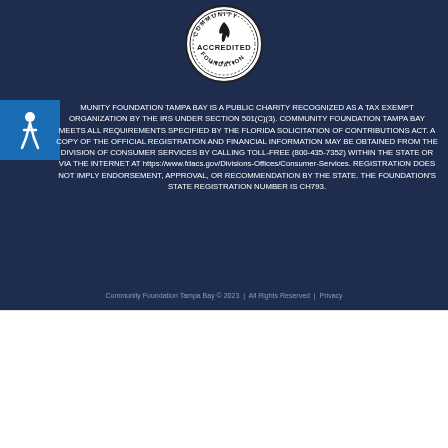[Figure (logo): Community Accredited Foundation circular badge/seal logo in black and white]
[Figure (illustration): Accessibility wheelchair icon in white on blue square background]
COMMUNITY FOUNDATION TAMPA BAY IS A PUBLIC CHARITY RECOGNIZED AS A TAX EXEMPT ORGANIZATION BY THE IRS UNDER SECTION 501(C)(3). COMMUNITY FOUNDATION TAMPA BAY MEETS ALL REQUIREMENTS SPECIFIED BY THE FLORIDA SOLICITATION OF CONTRIBUTIONS ACT. A COPY OF THE OFFICIAL REGISTRATION AND FINANCIAL INFORMATION MAY BE OBTAINED FROM THE DIVISION OF CONSUMER SERVICES BY CALLING TOLL-FREE (800-435-7352) WITHIN THE STATE OR VIA THE INTERNET AT https://www.fdacs.gov/Divisions-Offices/Consumer-Services. REGISTRATION DOES NOT IMPLY ENDORSEMENT, APPROVAL, OR RECOMMENDATION BY THE STATE. THE FOUNDATION'S STATE REGISTRATION NUMBER IS CH793.
Community Foundation Tampa Bay © 2023  |  All Rights Reserved  |  Privacy
We use cookies on our website to give you the most relevant experience by remembering your preferences and repeat visits. By clicking "Accept All", you consent to the use of ALL the cookies. However, you may visit "Cookie Settings" to provide a controlled consent.
Cookie Settings
Accept All